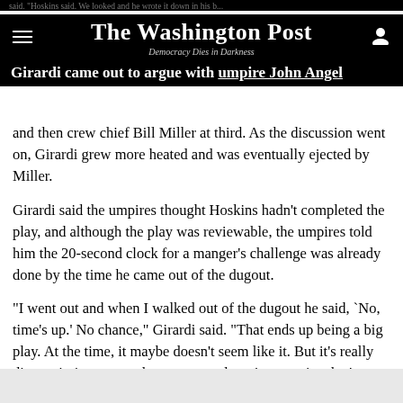The Washington Post
Democracy Dies in Darkness
and then crew chief Bill Miller at third. As the discussion went on, Girardi grew more heated and was eventually ejected by Miller.
Girardi said the umpires thought Hoskins hadn't completed the play, and although the play was reviewable, the umpires told him the 20-second clock for a manger's challenge was already done by the time he came out of the dugout.
"I went out and when I walked out of the dugout he said, `No, time's up.' No chance," Girardi said. "That ends up being a big play. At the time, it maybe doesn't seem like it. But it's really disappointing to me, that someone doesn't recognize that's not 20 seconds."
Torrens was also ejected in the eighth inning for his reaction after he was called out on a checked third-strike swing.
MISSES